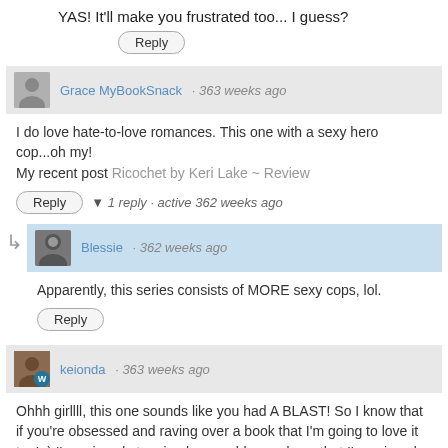YAS! It'll make you frustrated too... I guess?
Reply
Grace MyBookSnack · 363 weeks ago
I do love hate-to-love romances. This one with a sexy hero cop...oh my!
My recent post Ricochet by Keri Lake ~ Review
Reply  ▼ 1 reply · active 362 weeks ago
Blessie · 362 weeks ago
Apparently, this series consists of MORE sexy cops, lol.
Reply
keionda · 363 weeks ago
Ohhh girllll, this one sounds like you had A BLAST! So I know that if you're obsessed and raving over a book that I'm going to love it too! ;) I've missed stopping by your blog and see that I've missed like... A LOT. GRR
Reply  ▼ 1 reply · active 362 weeks ago